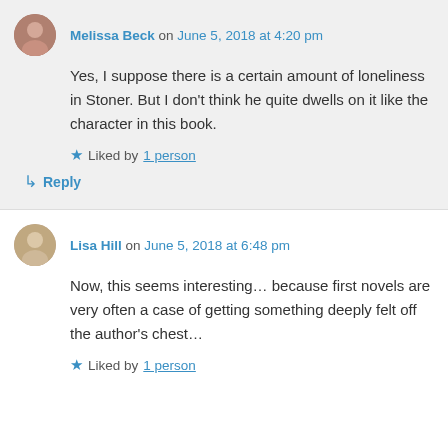Melissa Beck on June 5, 2018 at 4:20 pm
Yes, I suppose there is a certain amount of loneliness in Stoner. But I don't think he quite dwells on it like the character in this book.
Liked by 1 person
Reply
Lisa Hill on June 5, 2018 at 6:48 pm
Now, this seems interesting… because first novels are very often a case of getting something deeply felt off the author's chest…
Liked by 1 person